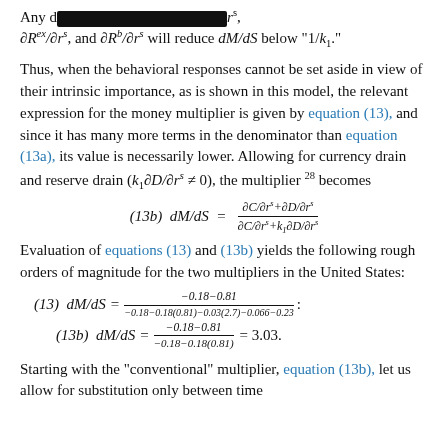Any d[redacted]r^s, ∂R^ex/∂r^s, and ∂R^b/∂r^s will reduce dM/dS below "1/k_1."
Thus, when the behavioral responses cannot be set aside in view of their intrinsic importance, as is shown in this model, the relevant expression for the money multiplier is given by equation (13), and since it has many more terms in the denominator than equation (13a), its value is necessarily lower. Allowing for currency drain and reserve drain (k_1∂D/∂r^s ≠ 0), the multiplier 28 becomes
Evaluation of equations (13) and (13b) yields the following rough orders of magnitude for the two multipliers in the United States:
Starting with the "conventional" multiplier, equation (13b), let us allow for substitution only between time